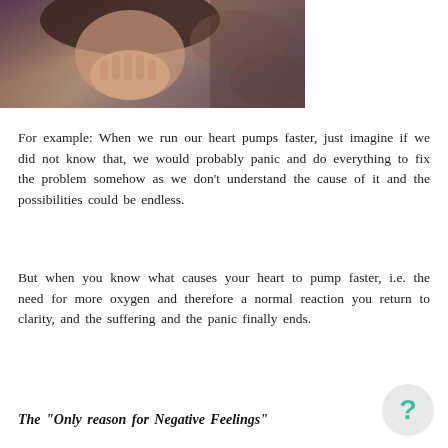[Figure (photo): Photo of a person with hands clasped near their face, appearing thoughtful or worried, with blurred background]
For example: When we run our heart pumps faster, just imagine if we did not know that, we would probably panic and do everything to fix the problem somehow as we don't understand the cause of it and the possibilities could be endless.
But when you know what causes your heart to pump faster, i.e. the need for more oxygen and therefore a normal reaction you return to clarity, and the suffering and the panic finally ends.
The "Only reason for Negative Feelings"